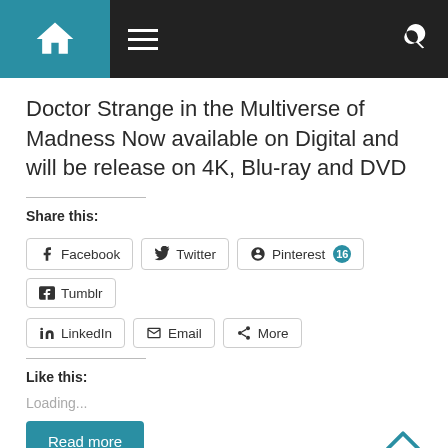Navigation bar with home icon, hamburger menu, and search icon
Doctor Strange in the Multiverse of Madness Now available on Digital and will be release on 4K, Blu-ray and DVD
Share this:
[Figure (screenshot): Social sharing buttons: Facebook, Twitter, Pinterest 16, Tumblr, LinkedIn, Email, More]
Like this:
Loading...
Read more